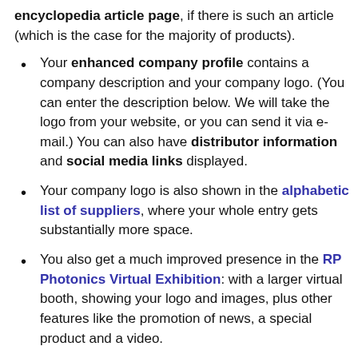encyclopedia article page, if there is such an article (which is the case for the majority of products).
Your enhanced company profile contains a company description and your company logo. (You can enter the description below. We will take the logo from your website, or you can send it via e-mail.) You can also have distributor information and social media links displayed.
Your company logo is also shown in the alphabetic list of suppliers, where your whole entry gets substantially more space.
You also get a much improved presence in the RP Photonics Virtual Exhibition: with a larger virtual booth, showing your logo and images, plus other features like the promotion of news, a special product and a video.
We mention your participation at upcoming